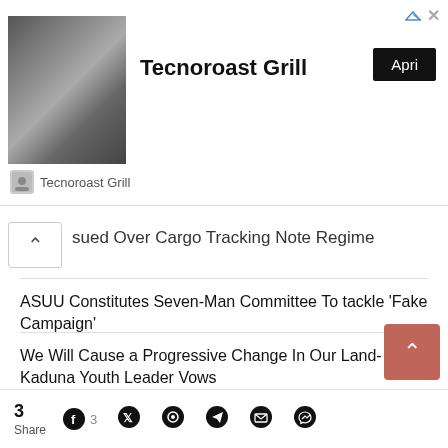[Figure (other): Advertisement banner for Tecnoroast Grill with food image, bold title, and 'Apri' button]
sued Over Cargo Tracking Note Regime
ASUU Constitutes Seven-Man Committee To tackle 'Fake Campaign'
We Will Cause a Progressive Change In Our Land-Kaduna Youth Leader Vows
9 Dead, 10 Injured In Abuja Road Accident
Mustapha at 66: When You Have An SGF As a Pillar Of a Nation
SDGs Revolution In Nigeria
3 Share